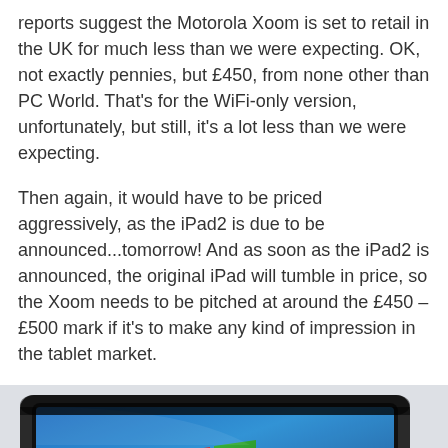reports suggest the Motorola Xoom is set to retail in the UK for much less than we were expecting. OK, not exactly pennies, but £450, from none other than PC World. That's for the WiFi-only version, unfortunately, but still, it's a lot less than we were expecting.
Then again, it would have to be priced aggressively, as the iPad2 is due to be announced...tomorrow! And as soon as the iPad2 is announced, the original iPad will tumble in price, so the Xoom needs to be pitched at around the £450 – £500 mark if it's to make any kind of impression in the tablet market.
[Figure (photo): A tablet device (resembling a Motorola Xoom or similar) displayed at an angle showing a blue screen with the Windows logo on it, against a light grey/white background.]